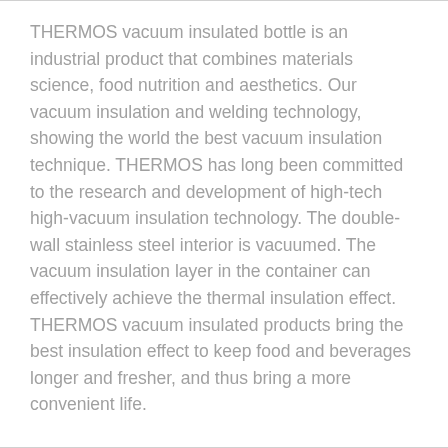THERMOS vacuum insulated bottle is an industrial product that combines materials science, food nutrition and aesthetics. Our vacuum insulation and welding technology, showing the world the best vacuum insulation technique. THERMOS has long been committed to the research and development of high-tech high-vacuum insulation technology. The double-wall stainless steel interior is vacuumed. The vacuum insulation layer in the container can effectively achieve the thermal insulation effect. THERMOS vacuum insulated products bring the best insulation effect to keep food and beverages longer and fresher, and thus bring a more convenient life.